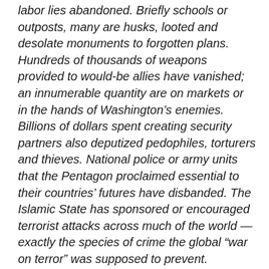labor lies abandoned. Briefly schools or outposts, many are husks, looted and desolate monuments to forgotten plans. Hundreds of thousands of weapons provided to would-be allies have vanished; an innumerable quantity are on markets or in the hands of Washington’s enemies. Billions of dollars spent creating security partners also deputized pedophiles, torturers and thieves. National police or army units that the Pentagon proclaimed essential to their countries’ futures have disbanded. The Islamic State has sponsored or encouraged terrorist attacks across much of the world — exactly the species of crime the global “war on terror” was supposed to prevent.
We’re still there. We’re still there. It takes a monumental piece like this on occasion to jolt us out of our complacency and to remind us that somehow, for some inexplicable reason, we continue to commit blood and